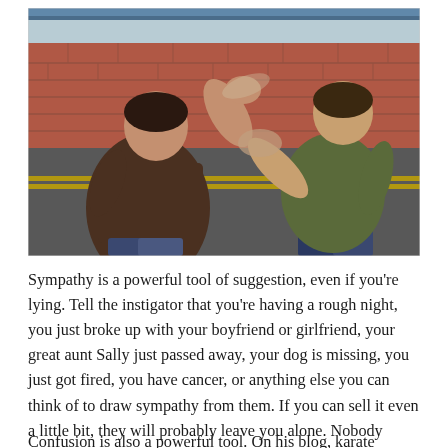[Figure (photo): Two men appear to be in a staged fight or martial arts demonstration on a street. The man on the left wears a dark brown/maroon t-shirt, and the man on the right wears an olive green t-shirt. Both are in dynamic poses mid-motion, with fists raised. The background shows a brick wall building and a road with yellow lines.]
Sympathy is a powerful tool of suggestion, even if you're lying. Tell the instigator that you're having a rough night, you just broke up with your boyfriend or girlfriend, your great aunt Sally just passed away, your dog is missing, you just got fired, you have cancer, or anything else you can think of to draw sympathy from them. If you can sell it even a little bit, they will probably leave you alone. Nobody wants to beat up an unemployed cancer patient with a lost dog.
Confusion is also a powerful tool. On his blog, karate